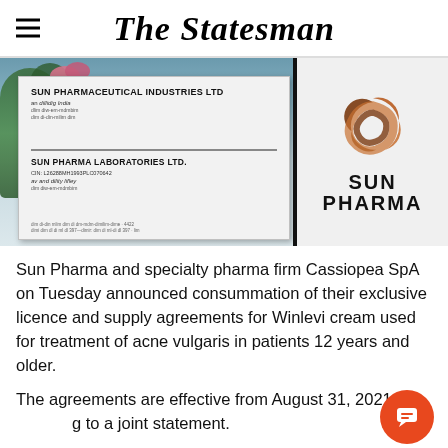The Statesman
[Figure (photo): Sun Pharma building exterior signboard showing 'Sun Pharmaceutical Industries Ltd' and 'Sun Pharma Laboratories Ltd.' plaques with the Sun Pharma orange swirl logo on the right side]
Sun Pharma and specialty pharma firm Cassiopea SpA on Tuesday announced consummation of their exclusive licence and supply agreements for Winlevi cream used for treatment of acne vulgaris in patients 12 years and older.
The agreements are effective from August 31, 2021, according to a joint statement.